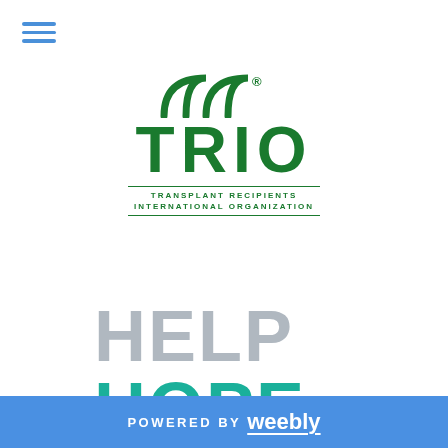[Figure (logo): TRIO - Transplant Recipients International Organization logo in green, with arches above the text and tagline below]
[Figure (logo): Help Hope Live logo with HELP and LIVE in grey, HOPE in teal/green, large bold stacked text]
POWERED BY weebly